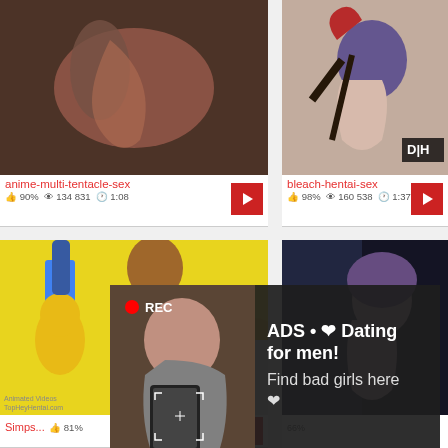[Figure (screenshot): Adult video website screenshot showing four video thumbnails in a 2x2 grid with metadata and an advertisement overlay]
anime-multi-tentacle-sex
90%  134 831  1:08
bleach-hentai-sex
98%  160 538  1:37
Simps...
81%
TopHeyHentai.com
ADS • ❤ Dating for men! Find bad girls here ❤